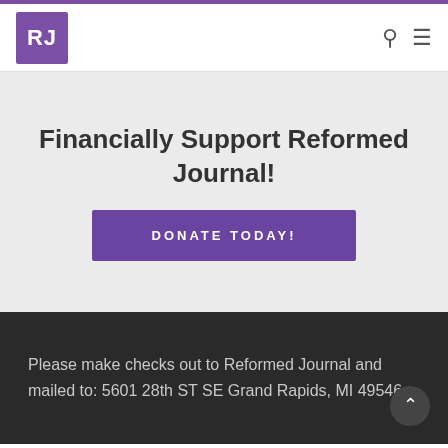RJ
Financially Support Reformed Journal!
DONATE TODAY!
Please make checks out to Reformed Journal and mailed to: 5601 28th ST SE Grand Rapids, MI 49546